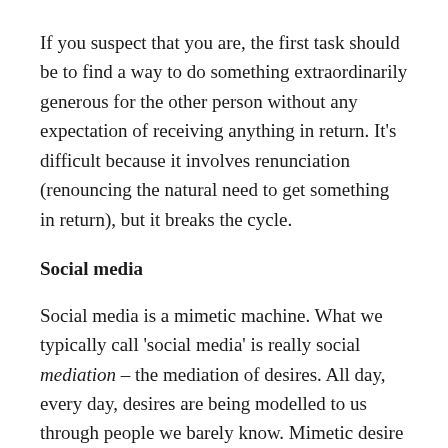If you suspect that you are, the first task should be to find a way to do something extraordinarily generous for the other person without any expectation of receiving anything in return. It's difficult because it involves renunciation (renouncing the natural need to get something in return), but it breaks the cycle.
Social media
Social media is a mimetic machine. What we typically call 'social media' is really social mediation – the mediation of desires. All day, every day, desires are being modelled to us through people we barely know. Mimetic desire is the hidden engine of these platforms.
Getting off social media completely might be